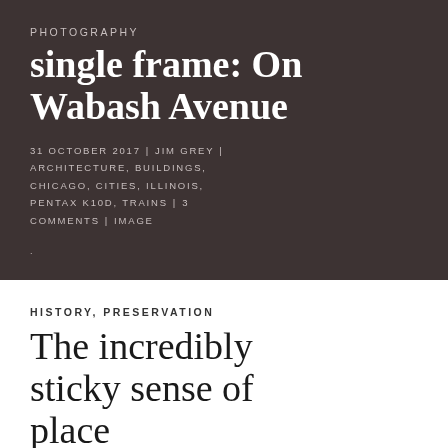PHOTOGRAPHY
single frame: On Wabash Avenue
31 OCTOBER 2017 | JIM GREY | ARCHITECTURE, BUILDINGS, CHICAGO, CITIES, ILLINOIS, PENTAX K10D, TRAINS | 3 COMMENTS | IMAGE
HISTORY, PRESERVATION
The incredibly sticky sense of place